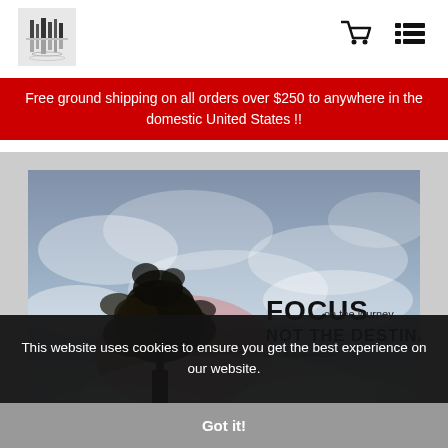Website header with logo, cart icon, and menu icon
Free ground shipping on all orders over $250 to anywhere in the domestic United States !!
[Figure (photo): Motivational poster image with a dark tree against a cloudy blue/pink sky background. Text on the image reads: FOCUS on the journey. NOT THE DESTINATION - Greg Anderson]
This website uses cookies to ensure you get the best experience on our website.
Got it!